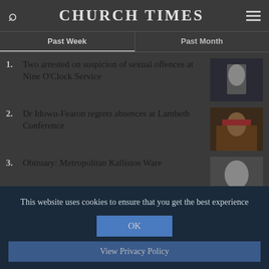CHURCH TIMES
Past Week
Past Month
1. Two arrested on suspicion of sexual offences at Nine O'Clock Service
2. Dr Idowu-Fearon regrets absences at Lambeth Conference
3. Obituary: Metropolitan Kallistos Ware
This website uses cookies to ensure that you get the best experience
OK
View Privacy Policy